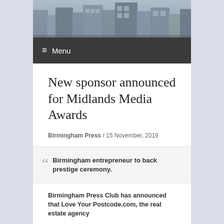[Figure (photo): Header image of Birmingham city buildings/skyline in muted grey-blue tones]
≡ Menu
New sponsor announced for Midlands Media Awards
Birmingham Press / 15 November, 2019
Birmingham entrepreneur to back prestige ceremony.
Birmingham Press Club has announced that Love Your Postcode.com, the real estate agency